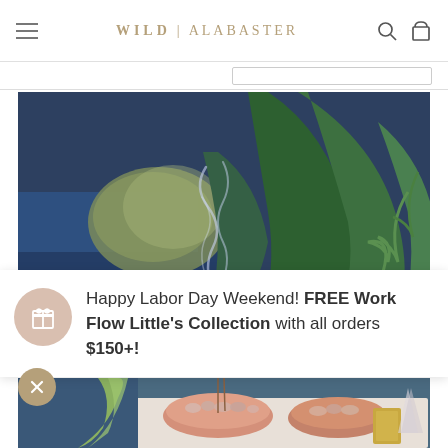WILD | ALABASTER
[Figure (photo): Hero photo of indoor plants with incense smoke rising, dark moody atmosphere with blue sofa and lush green tropical leaves]
Happy Labor Day Weekend! FREE Work Flow Little's Collection with all orders $150+!
[Figure (photo): Bottom portion of hero image showing decorative items, pink ceramic bowls with crystals/pebbles on a marble surface, plant leaves, and a gold rectangular object]